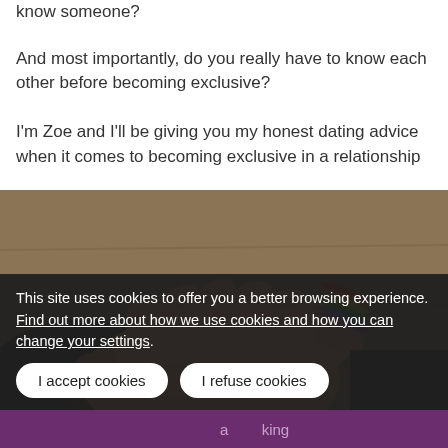know someone?
And most importantly, do you really have to know each other before becoming exclusive?
I'm Zoe and I'll be giving you my honest dating advice when it comes to becoming exclusive in a relationship
[Figure (photo): Two people holding hands on a wooden surface with a rainbow light reflection visible on their hands.]
This site uses cookies to offer you a better browsing experience. Find out more about how we use cookies and how you can change your settings.
I accept cookies | I refuse cookies